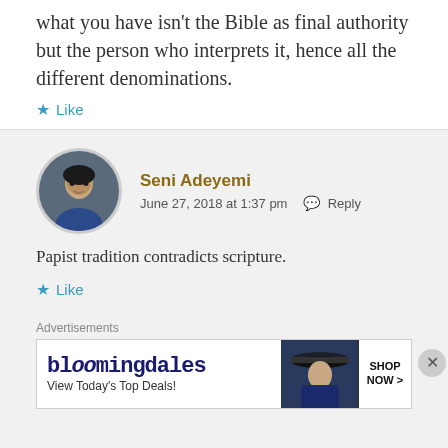what you have isn't the Bible as final authority but the person who interprets it, hence all the different denominations.
Like
Seni Adeyemi
June 27, 2018 at 1:37 pm  Reply
Papist tradition contradicts scripture.
Like
[Figure (photo): Profile photo of Seni Adeyemi, a man in a blue shirt]
Advertisements
[Figure (screenshot): Bloomingdale's advertisement banner: 'View Today's Top Deals!' with SHOP NOW > button]